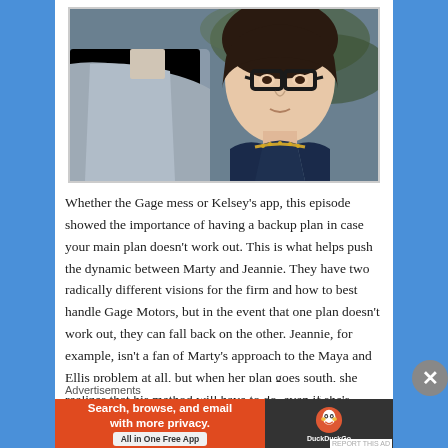[Figure (photo): Scene from a TV show: a woman with dark hair and black-framed glasses wearing a dark blue dress with gold embellishments, looking toward someone whose back is to the camera.]
Whether the Gage mess or Kelsey’s app, this episode showed the importance of having a backup plan in case your main plan doesn’t work out.  This is what helps push the dynamic between Marty and Jeannie.  They have two radically different visions for the firm and how to best handle Gage Motors, but in the event that one plan doesn’t work out, they can fall back on the other.  Jeannie, for example, isn’t a fan of Marty’s approach to the Maya and Ellis problem at all, but when her plan goes south, she realizes that his method will have to do, even if she’s
Advertisements
[Figure (screenshot): DuckDuckGo advertisement banner: orange left panel with text 'Search, browse, and email with more privacy. All in One Free App', dark right panel with DuckDuckGo duck logo and DuckDuckGo text.]